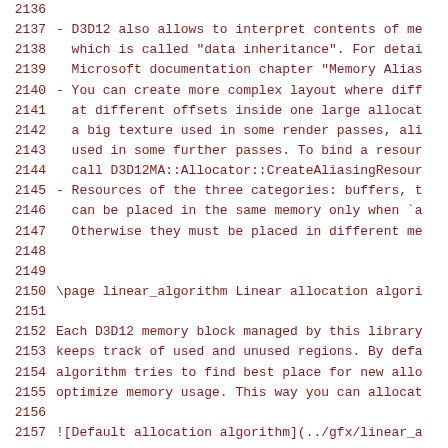2136 (empty)
2137 - D3D12 also allows to interpret contents of me
2138   which is called "data inheritance". For detai
2139   Microsoft documentation chapter "Memory Alias
2140 - You can create more complex layout where diff
2141   at different offsets inside one large allocat
2142   a big texture used in some render passes, ali
2143   used in some further passes. To bind a resour
2144   call D3D12MA::Allocator::CreateAliasingResour
2145 - Resources of the three categories: buffers, t
2146   can be placed in the same memory only when `a
2147   Otherwise they must be placed in different me
2148 (empty)
2149 (empty)
2150 \page linear_algorithm Linear allocation algori
2151 (empty)
2152 Each D3D12 memory block managed by this library
2153 keeps track of used and unused regions. By defa
2154 algorithm tries to find best place for new allo
2155 optimize memory usage. This way you can allocat
2156 (empty)
2157 ![Default allocation algorithm](../gfx/linear_a